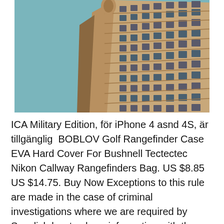[Figure (photo): Photograph of the upper portion of a tall historic brick building (likely the Flatiron Building in New York City) shot from a low angle against a blue-gray sky. The building has ornate architectural details, many windows arranged in a grid, and a distinctive triangular/wedge shape tapering to a point.]
ICA Military Edition, för iPhone 4 asnd 4S, är tillgänglig  BOBLOV Golf Rangefinder Case EVA Hard Cover For Bushnell Tectectec Nikon Callway Rangefinders Bag. US $8.85 US $14.75. Buy Now Exceptions to this rule are made in the case of criminal investigations where we are required by Swedish law to share information with the relevant authorities. B&W GoPro Case Type 2000 Y yellow w. GoPro 8 Inlay Deklas SP Gadgets POV CASE Skull DJI Ronin 3D Focus System - Rangefinder -